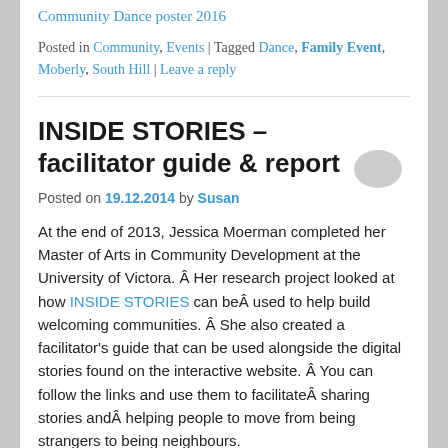Community Dance poster 2016
Posted in Community, Events | Tagged Dance, Family Event, Moberly, South Hill | Leave a reply
INSIDE STORIES – facilitator guide & report
Posted on 19.12.2014 by Susan
At the end of 2013, Jessica Moerman completed her Master of Arts in Community Development at the University of Victora. Â Her research project looked at how INSIDE STORIES can beÂ used to help build welcoming communities. Â She also created a facilitator's guide that can be used alongside the digital stories found on the interactive website. Â You can follow the links and use them to facilitateÂ sharing stories andÂ helping people to move from being strangers to being neighbours.